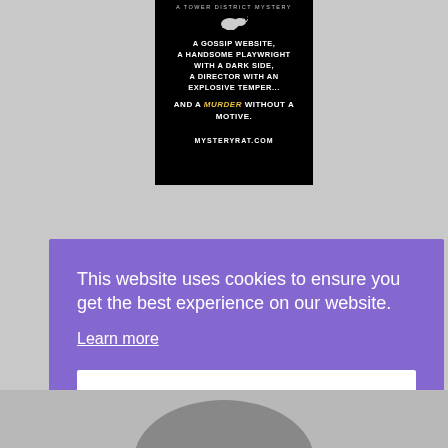[Figure (illustration): Book cover for a Tower District Mystery on a black background. White text reads: 'A gossip website, A handsome playwright with a dark side, A director with an explosive temper... And a MURDER without a motive. MYSTERYRAT.COM']
This website uses cookies to ensure you get the best experience on our website.
Learn more
Got it